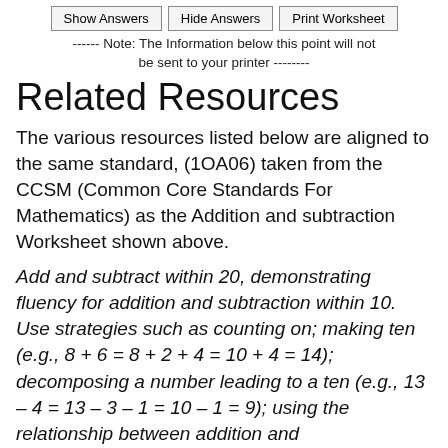Show Answers   Hide Answers   Print Worksheet
------ Note: The Information below this point will not be sent to your printer --------
Related Resources
The various resources listed below are aligned to the same standard, (1OA06) taken from the CCSM (Common Core Standards For Mathematics) as the Addition and subtraction Worksheet shown above.
Add and subtract within 20, demonstrating fluency for addition and subtraction within 10. Use strategies such as counting on; making ten (e.g., 8 + 6 = 8 + 2 + 4 = 10 + 4 = 14); decomposing a number leading to a ten (e.g., 13 – 4 = 13 – 3 – 1 = 10 – 1 = 9); using the relationship between addition and